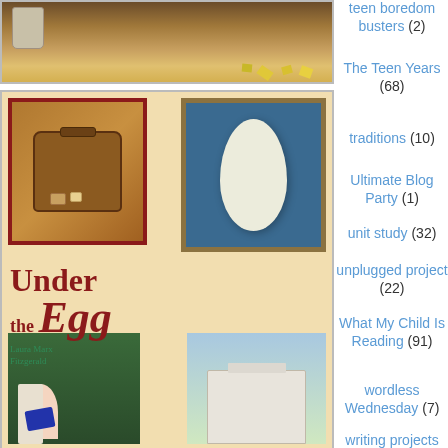[Figure (photo): Top cropped image showing puzzle pieces scattered on a table with a mug]
[Figure (illustration): Book cover of 'Under the Egg' by Laura Marx Fitzgerald showing a suitcase, an egg painting, a girl reading, a museum building, and art supplies]
teen boredom busters (2)
The Teen Years (68)
traditions (10)
Ultimate Blog Party (1)
unit study (32)
unplugged project (22)
What My Child Is Reading (91)
wordless Wednesday (7)
writing projects (10)